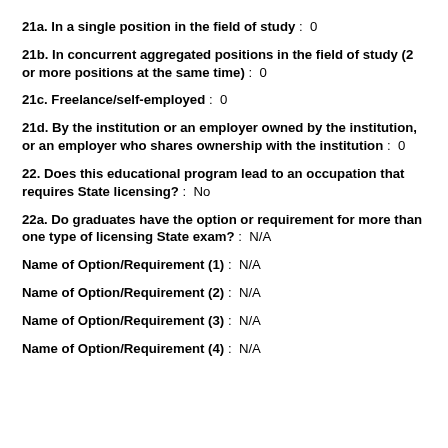21a. In a single position in the field of study: 0
21b. In concurrent aggregated positions in the field of study (2 or more positions at the same time): 0
21c. Freelance/self-employed: 0
21d. By the institution or an employer owned by the institution, or an employer who shares ownership with the institution: 0
22. Does this educational program lead to an occupation that requires State licensing?: No
22a. Do graduates have the option or requirement for more than one type of licensing State exam?: N/A
Name of Option/Requirement (1): N/A
Name of Option/Requirement (2): N/A
Name of Option/Requirement (3): N/A
Name of Option/Requirement (4): N/A